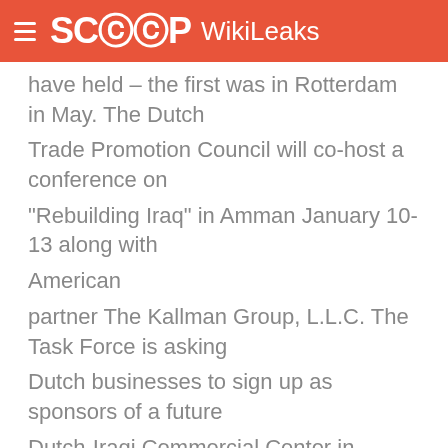SCOOP WikiLeaks
have held – the first was in Rotterdam in May. The Dutch Trade Promotion Council will co-host a conference on "Rebuilding Iraq" in Amman January 10-13 along with American partner The Kallman Group, L.L.C. The Task Force is asking Dutch businesses to sign up as sponsors of a future Dutch-Iraqi Commercial Center in Baghdad which will provide business consultation services to prospective Dutch investors.
What Business Requests of the Government